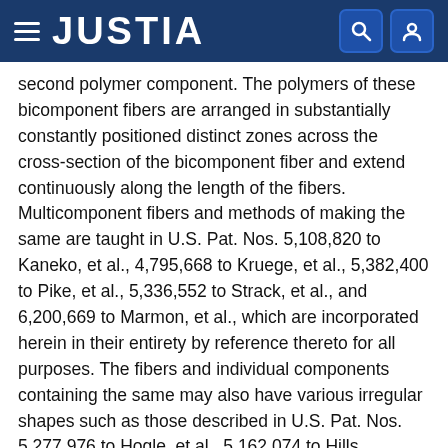JUSTIA
second polymer component. The polymers of these bicomponent fibers are arranged in substantially constantly positioned distinct zones across the cross-section of the bicomponent fiber and extend continuously along the length of the fibers. Multicomponent fibers and methods of making the same are taught in U.S. Pat. Nos. 5,108,820 to Kaneko, et al., 4,795,668 to Kruege, et al., 5,382,400 to Pike, et al., 5,336,552 to Strack, et al., and 6,200,669 to Marmon, et al., which are incorporated herein in their entirety by reference thereto for all purposes. The fibers and individual components containing the same may also have various irregular shapes such as those described in U.S. Pat. Nos. 5,277,976 to Hogle, et al., 5,162,074 to Hills, 5,466,410 to Hills, 5,069,970 to Largman, et al., and 5,057,368 to Largman, et al., which are incorporated herein in their entirety by reference thereto for all